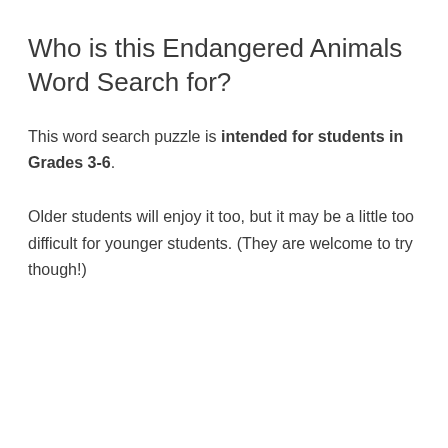Who is this Endangered Animals Word Search for?
This word search puzzle is intended for students in Grades 3-6.
Older students will enjoy it too, but it may be a little too difficult for younger students. (They are welcome to try though!)